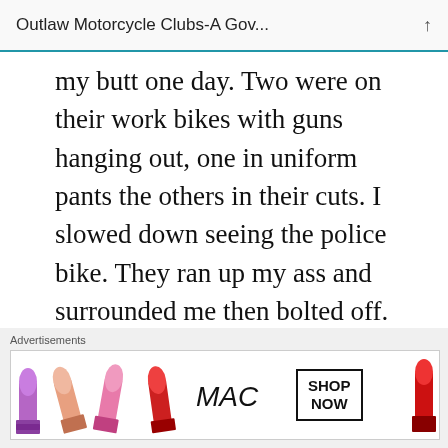Outlaw Motorcycle Clubs-A Gov...
my butt one day. Two were on their work bikes with guns hanging out, one in uniform pants the others in their cuts. I slowed down seeing the police bike. They ran up my ass and surrounded me then bolted off. Sad try of scaring dumb asses. Just because I was riding alone in color they thought they could act bad. Fail ! Bitches where perched like they had a pickle up the wallet sock. Folsom California Pussies.
[Figure (infographic): MAC cosmetics advertisement banner showing lipsticks in purple, peach, and pink, MAC logo, and SHOP NOW button]
Advertisements